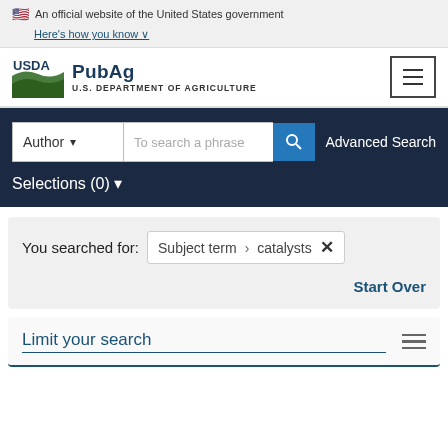An official website of the United States government Here's how you know
[Figure (logo): USDA PubAg logo with text 'PubAg' and 'U.S. DEPARTMENT OF AGRICULTURE']
Author  To search a phrase  Advanced Search
Selections (0)
You searched for: Subject term > catalysts ×
Start Over
Limit your search